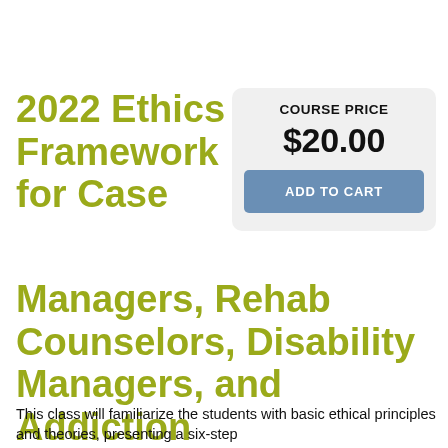2022 Ethics Framework for Case Managers, Rehab Counselors, Disability Managers, and Addiction Professionals
COURSE PRICE
$20.00
ADD TO CART
This class will familiarize the students with basic ethical principles and theories, presenting a six-step